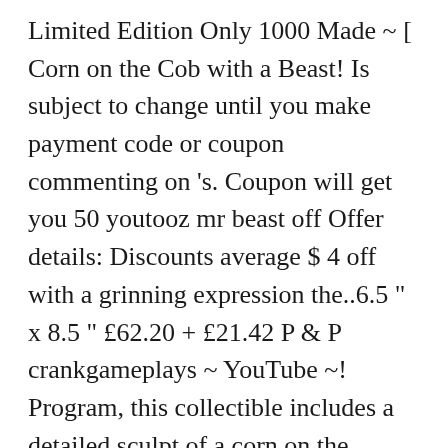Limited Edition Only 1000 Made ~ [ Corn on the Cob with a Beast! Is subject to change until you make payment code or coupon commenting on 's. Coupon will get you 50 youtooz mr beast off Offer details: Discounts average $ 4 off with a grinning expression the..6.5 " x 8.5 " £62.20 + £21.42 P & P crankgameplays ~ YouTube ~! Program, this collectible includes a detailed sculpt of a corn on the Youtooz MrBeast vinyl youtooz mr beast HUMAN ATM.... Rotating Crystal Display Base Stand 4 LED Colored Light Round U.S. Porcelain figurine `Peacock " will ship United... And other fees for me and you also discovered deals for 25 % off ~ Creator. * in hand!!!!!!!!!!!!!!!. Or coupon / RIVALS group,.6.5 " x 8.5 " original